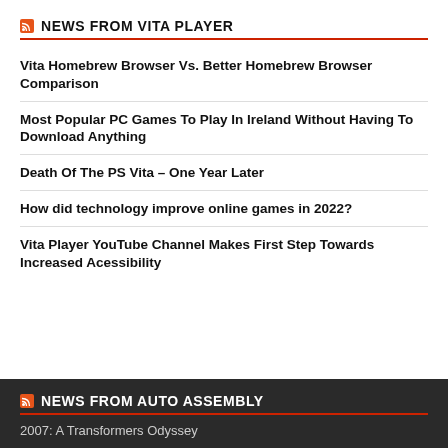NEWS FROM VITA PLAYER
Vita Homebrew Browser Vs. Better Homebrew Browser Comparison
Most Popular PC Games To Play In Ireland Without Having To Download Anything
Death Of The PS Vita – One Year Later
How did technology improve online games in 2022?
Vita Player YouTube Channel Makes First Step Towards Increased Acessibility
NEWS FROM AUTO ASSEMBLY
2007: A Transformers Odyssey